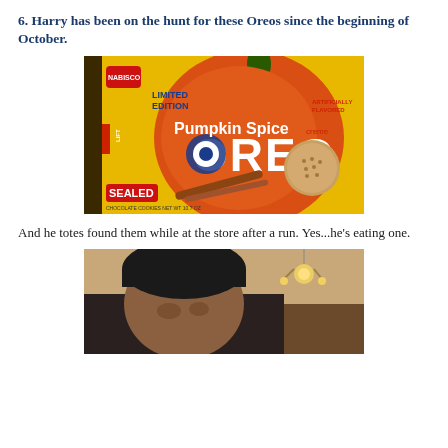6.  Harry has been on the hunt for these Oreos since the beginning of October.
[Figure (photo): A package of Limited Edition Pumpkin Spice Oreo cookies on a yellow background, showing the Nabisco logo, a pumpkin, cinnamon sticks, and an Oreo cookie. The package says SEALED at the bottom left.]
And he totes found them while at the store after a run.  Yes...he's eating one.
[Figure (photo): A person wearing a dark beanie hat, photographed indoors with a chandelier light visible in the background.]